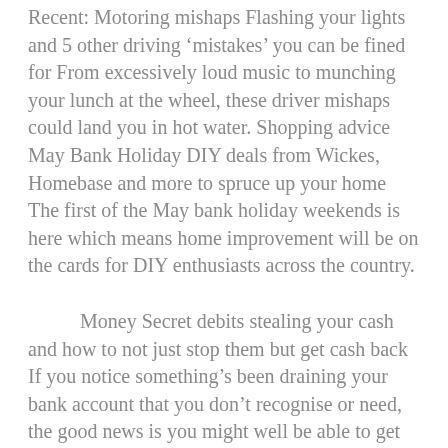Recent: Motoring mishaps Flashing your lights and 5 other driving 'mistakes' you can be fined for From excessively loud music to munching your lunch at the wheel, these driver mishaps could land you in hot water. Shopping advice May Bank Holiday DIY deals from Wickes, Homebase and more to spruce up your home The first of the May bank holiday weekends is here which means home improvement will be on the cards for DIY enthusiasts across the country.
Money Secret debits stealing your cash and how to not just stop them but get cash back If you notice something's been draining your bank account that you don't recognise or need, the good news is you might well be able to get the cash back – what to watch for. Supermarkets Best online food shopping supermarket deals and promo codes from all major chains Need to slash the cost of your weekly or monthly food bill?